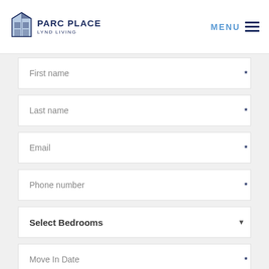PARC PLACE LYND LIVING | MENU
First name *
Last name *
Email *
Phone number *
Select Bedrooms ▼
Move In Date *
-Select Source- ▼